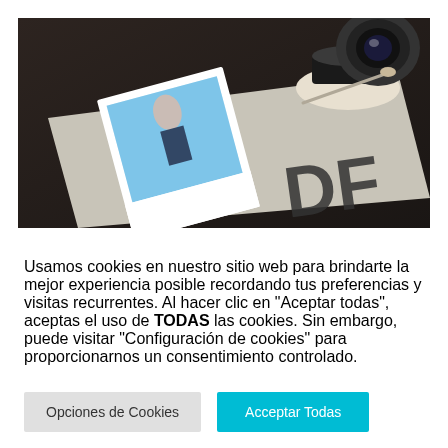[Figure (photo): A photograph showing a polaroid-style photo of a child, a coffee cup and saucer, on a table with a magazine/book showing partial text 'DF', viewed from above in warm vintage tones.]
Usamos cookies en nuestro sitio web para brindarte la mejor experiencia posible recordando tus preferencias y visitas recurrentes. Al hacer clic en "Aceptar todas", aceptas el uso de TODAS las cookies. Sin embargo, puede visitar "Configuración de cookies" para proporcionarnos un consentimiento controlado.
Opciones de Cookies
Acceptar Todas